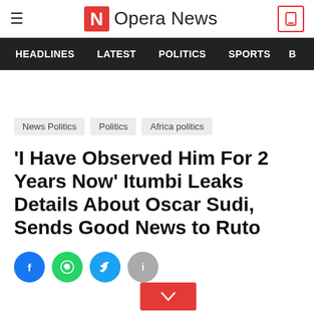Opera News
HEADLINES   LATEST   POLITICS   SPORTS
News Politics
Politics
Africa politics
'I Have Observed Him For 2 Years Now' Itumbi Leaks Details About Oscar Sudi, Sends Good News to Ruto